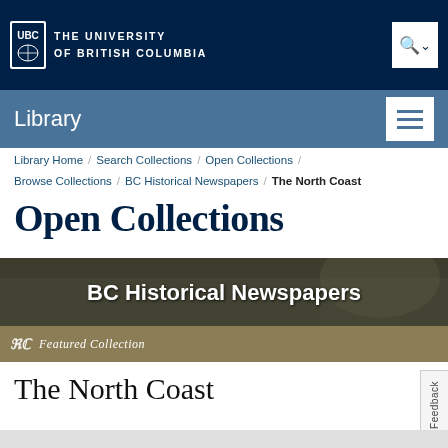THE UNIVERSITY OF BRITISH COLUMBIA
Library
Library Home / Search Collections / Open Collections / Browse Collections / BC Historical Newspapers / The North Coast
Open Collections
BC Historical Newspapers
Featured Collection
The North Coast